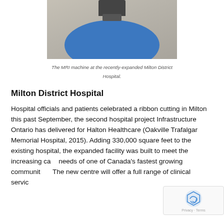[Figure (photo): Close-up photo of an MRI machine at the recently-expanded Milton District Hospital, showing a blue circular element and mechanical components above.]
The MRI machine at the recently-expanded Milton District Hospital.
Milton District Hospital
Hospital officials and patients celebrated a ribbon cutting in Milton this past September, the second hospital project Infrastructure Ontario has delivered for Halton Healthcare (Oakville Trafalgar Memorial Hospital, 2015). Adding 330,000 square feet to the existing hospital, the expanded facility was built to meet the increasing care needs of one of Canada’s fastest growing communities. The new centre will offer a full range of clinical servic